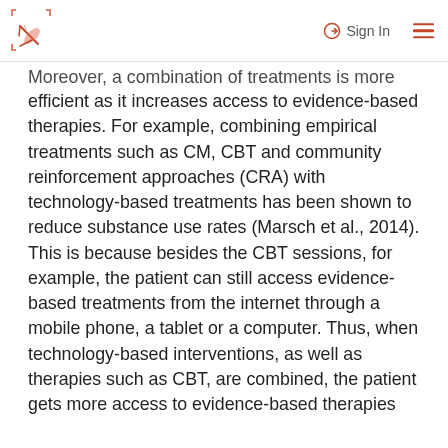Sign In
Moreover, a combination of treatments is more efficient as it increases access to evidence-based therapies. For example, combining empirical treatments such as CM, CBT and community reinforcement approaches (CRA) with technology-based treatments has been shown to reduce substance use rates (Marsch et al., 2014). This is because besides the CBT sessions, for example, the patient can still access evidence-based treatments from the internet through a mobile phone, a tablet or a computer. Thus, when technology-based interventions, as well as therapies such as CBT, are combined, the patient gets more access to evidence-based therapies